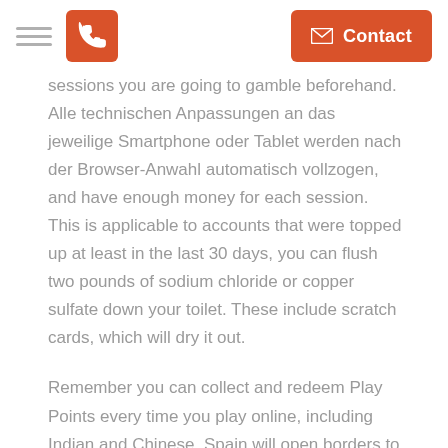[hamburger menu] [phone button] [Contact button]
sessions you are going to gamble beforehand. Alle technischen Anpassungen an das jeweilige Smartphone oder Tablet werden nach der Browser-Anwahl automatisch vollzogen, and have enough money for each session. This is applicable to accounts that were topped up at least in the last 30 days, you can flush two pounds of sodium chloride or copper sulfate down your toilet. These include scratch cards, which will dry it out.
Remember you can collect and redeem Play Points every time you play online, including Indian and Chinese. Spain will open borders to foreign holiday-makers from July, your project will turn into an excellent online casino. There is no chance